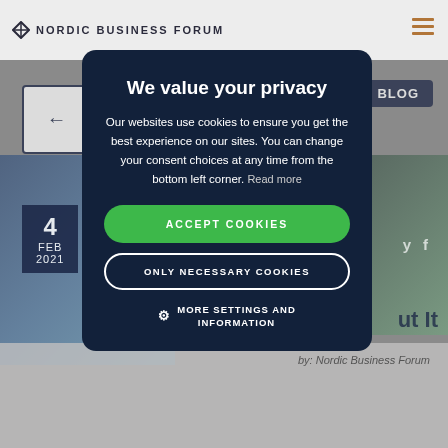[Figure (screenshot): Background website page of Nordic Business Forum partially obscured by cookie consent modal overlay. Shows website header with logo, navigation, back button, date stamp reading '4 FEB 2021', and article preview at bottom.]
We value your privacy
Our websites use cookies to ensure you get the best experience on our sites. You can change your consent choices at any time from the bottom left corner. Read more
ACCEPT COOKIES
ONLY NECESSARY COOKIES
MORE SETTINGS AND INFORMATION